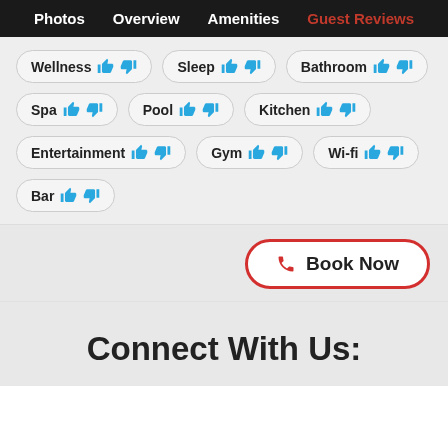Photos  Overview  Amenities  Guest Reviews
Wellness 👍👎
Sleep 👍👎
Bathroom 👍👎
Spa 👍👎
Pool 👍👎
Kitchen 👍👎
Entertainment 👍👎
Gym 👍👎
Wi-fi 👍👎
Bar 👍👎
Book Now
Connect With Us: